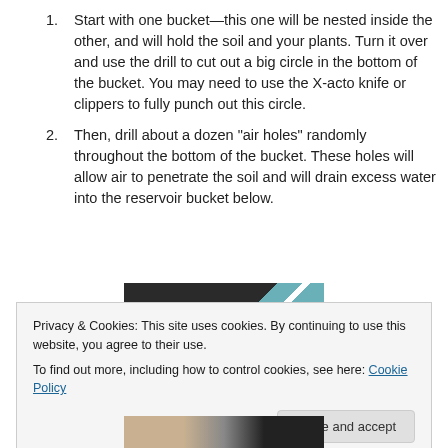Start with one bucket—this one will be nested inside the other, and will hold the soil and your plants. Turn it over and use the drill to cut out a big circle in the bottom of the bucket. You may need to use the X-acto knife or clippers to fully punch out this circle.
Then, drill about a dozen "air holes" randomly throughout the bottom of the bucket. These holes will allow air to penetrate the soil and will drain excess water into the reservoir bucket below.
[Figure (photo): Top portion of a photo showing a dark surface with a teal/white diagonal element, partially obscured by cookie banner overlay.]
Privacy & Cookies: This site uses cookies. By continuing to use this website, you agree to their use.
To find out more, including how to control cookies, see here: Cookie Policy
[Figure (photo): Bottom portion of a photo showing sandy/earthy tones on the left and dark tones on the right.]